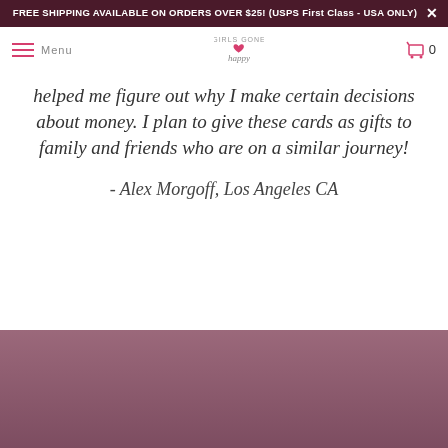FREE SHIPPING AVAILABLE ON ORDERS OVER $25! (USPS First Class - USA ONLY)
helped me figure out why I make certain decisions about money. I plan to give these cards as gifts to family and friends who are on a similar journey!
- Alex Morgoff, Los Angeles CA
[Figure (photo): Bottom portion of page showing a mauve/dusty rose colored background, partial product photo visible]